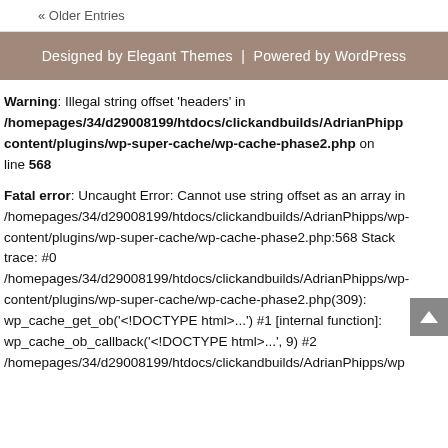« Older Entries
Designed by Elegant Themes | Powered by WordPress
Warning: Illegal string offset 'headers' in /homepages/34/d29008199/htdocs/clickandbuilds/AdrianPhipp-content/plugins/wp-super-cache/wp-cache-phase2.php on line 568
Fatal error: Uncaught Error: Cannot use string offset as an array in /homepages/34/d29008199/htdocs/clickandbuilds/AdrianPhipps/wp-content/plugins/wp-super-cache/wp-cache-phase2.php:568 Stack trace: #0 /homepages/34/d29008199/htdocs/clickandbuilds/AdrianPhipps/wp-content/plugins/wp-super-cache/wp-cache-phase2.php(309): wp_cache_get_ob('<!DOCTYPE html>...') #1 [internal function]: wp_cache_ob_callback('<!DOCTYPE html>...', 9) #2 /homepages/34/d29008199/htdocs/clickandbuilds/AdrianPhipps/wp